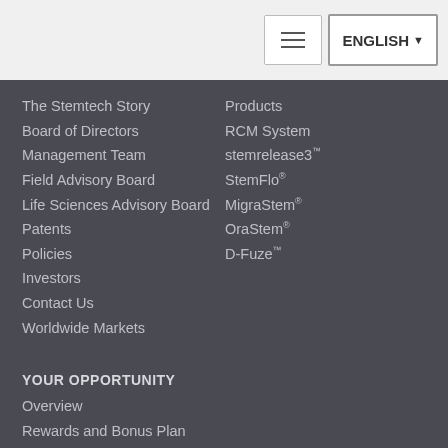ENGLISH (navigation header with hamburger menu and language selector)
The Stemtech Story
Board of Directors
Management Team
Field Advisory Board
Life Sciences Advisory Board
Patents
Policies
Investors
Contact Us
Worldwide Markets
Products
RCM System
stemrelease3™
StemFlo®
MigraStem®
OraStem®
D-Fuze™
YOUR OPPORTUNITY
Overview
Rewards and Bonus Plan
Get Started
© 2022 Stemtech Corporation - All Rights Reserved.